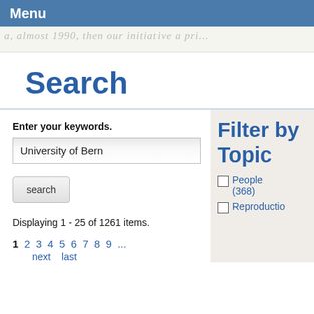Menu
[Figure (illustration): Handwritten cursive text watermark/banner in light gray, partially visible, reading something like 'a, almost 1990, then our initiative a pri...']
Search
Enter your keywords.
University of Bern
search
Displaying 1 - 25 of 1261 items.
1 2 3 4 5 6 7 8 9 ...
Filter by Topic
People (368)
Reproductio